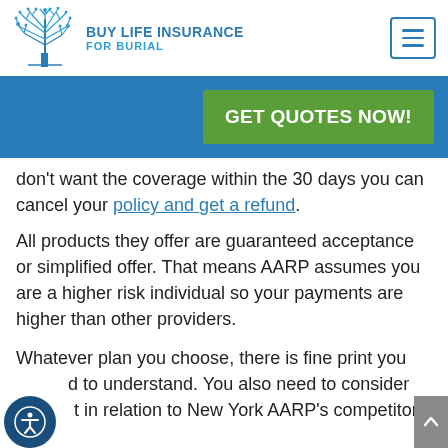[Figure (logo): Buy Life Insurance For Burial logo with blue tree illustration and text]
don't want the coverage within the 30 days you can cancel your policy and get a refund.
All products they offer are guaranteed acceptance or simplified offer. That means AARP assumes you are a higher risk individual so your payments are higher than other providers.
Whatever plan you choose, there is fine print you need to understand. You also need to consider the cost in relation to New York AARP's competitors.